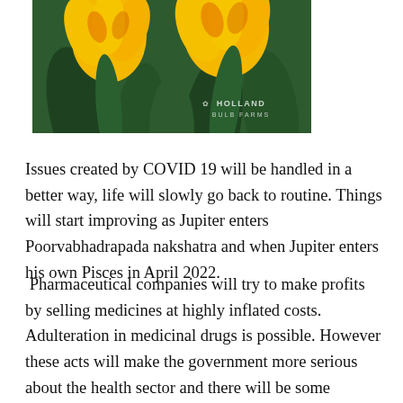[Figure (photo): Close-up photo of yellow parrot tulips with green leaves. Holland Bulb Farms watermark visible in lower right corner of image.]
Issues created by COVID 19 will be handled in a better way, life will slowly go back to routine. Things will start improving as Jupiter enters Poorvabhadrapada nakshatra and when Jupiter enters his own Pisces in April 2022.
Pharmaceutical companies will try to make profits by selling medicines at highly inflated costs. Adulteration in medicinal drugs is possible. However these acts will make the government more serious about the health sector and there will be some reforms/funds for this now.